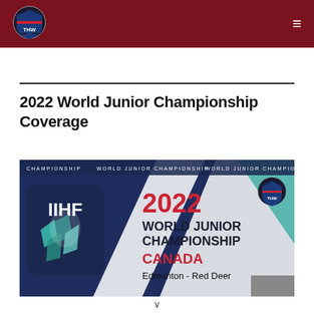THW - The Hockey Writers
2022 World Junior Championship Coverage
[Figure (illustration): IIHF 2022 World Junior Championship banner with logo, text '2022 WORLD JUNIOR CHAMPIONSHIP CANADA Edmonton - Red Deer', and THW logo. Background is dark navy/teal/gray geometric design.]